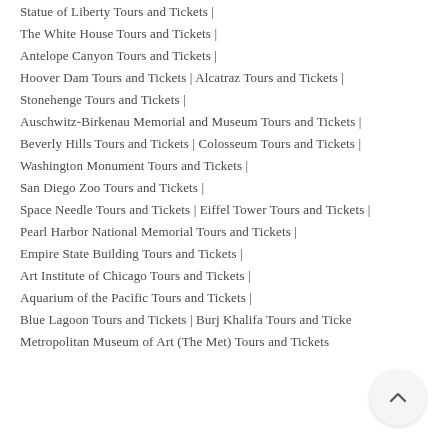Statue of Liberty Tours and Tickets |
The White House Tours and Tickets |
Antelope Canyon Tours and Tickets |
Hoover Dam Tours and Tickets | Alcatraz Tours and Tickets |
Stonehenge Tours and Tickets |
Auschwitz-Birkenau Memorial and Museum Tours and Tickets |
Beverly Hills Tours and Tickets | Colosseum Tours and Tickets |
Washington Monument Tours and Tickets |
San Diego Zoo Tours and Tickets |
Space Needle Tours and Tickets | Eiffel Tower Tours and Tickets |
Pearl Harbor National Memorial Tours and Tickets |
Empire State Building Tours and Tickets |
Art Institute of Chicago Tours and Tickets |
Aquarium of the Pacific Tours and Tickets |
Blue Lagoon Tours and Tickets | Burj Khalifa Tours and Tickets |
Metropolitan Museum of Art (The Met) Tours and Tickets